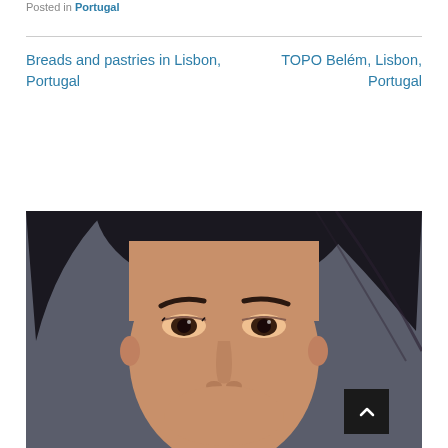Posted in Portugal
Breads and pastries in Lisbon, Portugal
TOPO Belém, Lisbon, Portugal
[Figure (photo): Close-up photo of an Asian woman's face with dark hair, looking directly at the camera, against a dark gray background. Only the upper portion of her face (from forehead to nose) is visible.]